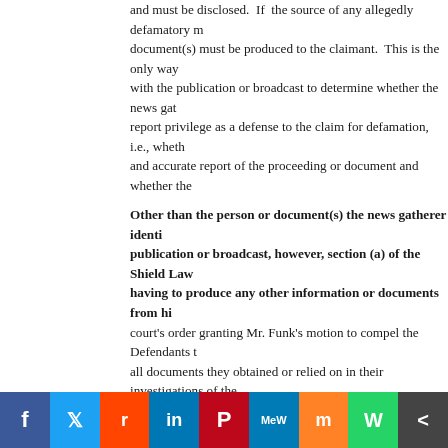and must be disclosed. If the source of any allegedly defamatory information document(s) must be produced to the claimant. This is the only way with the publication or broadcast to determine whether the news gatherer's report privilege as a defense to the claim for defamation, i.e., whether and accurate report of the proceeding or document and whether the
Other than the person or document(s) the news gatherer identified as the source of the publication or broadcast, however, section (a) of the Shield Law protects news gatherers from having to produce any other information or documents from his/her files. The trial court's order granting Mr. Funk's motion to compel the Defendants to produce all documents they obtained or relied on in their investigations of the ... is contrary to this interpretation of the statute. Thus, we find the trial court erred when
(emphasis added).
Makes sense, right? In layman's terms, if WTVF wants to say it was just reporting on some other lawsuit, it has to disclose those sources, but doing so does NOT require any non-public documents that may have contributed to the reporting.
You can read the Order here.
Share this post:
[Figure (infographic): Row of social media icon circles: Facebook (blue), Twitter (light blue), Reddit (orange-red), LinkedIn (blue), Pinterest (dark red), MeWe (teal), Mix (orange), WhatsApp (green)]
[Figure (infographic): Bottom social sharing bar with colored blocks: Facebook (dark blue), Twitter (light blue), Reddit (orange), LinkedIn (blue), Pinterest (red), MeWe (teal), Mix (orange), WhatsApp (green), More (dark gray)]